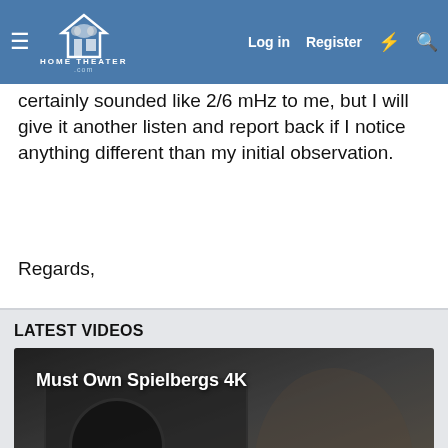HOME THEATER (navigation bar with Log in, Register, and icon buttons)
certainly sounded like 2/6 mHz to me, but I will give it another listen and report back if I notice anything different than my initial observation.
Regards,
LATEST VIDEOS
[Figure (screenshot): Video thumbnail showing 'Must Own Spielbergs 4K' with a man looking through a camera lens. Play button visible in center. Caption text reads 'Whether you’re drawn to his quest to make you cower in fear,']